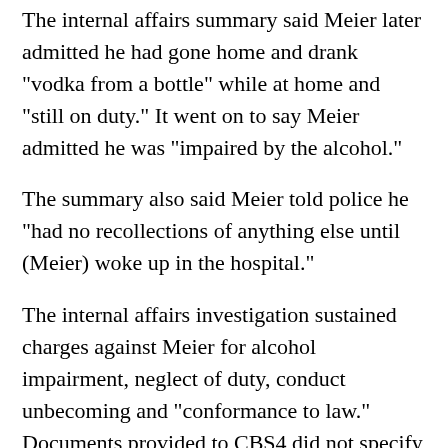The internal affairs summary said Meier later admitted he had gone home and drank "vodka from a bottle" while at home and "still on duty." It went on to say Meier admitted he was "impaired by the alcohol."
The summary also said Meier told police he "had no recollections of anything else until (Meier) woke up in the hospital."
The internal affairs investigation sustained charges against Meier for alcohol impairment, neglect of duty, conduct unbecoming and "conformance to law." Documents provided to CBS4 did not specify what discipline was imposed, but several Aurora police contacts said Meier was demoted over the incident.